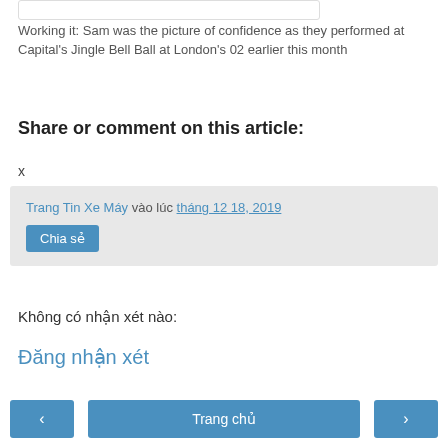Working it: Sam was the picture of confidence as they performed at Capital's Jingle Bell Ball at London's 02 earlier this month
Share or comment on this article:
x
Trang Tin Xe Máy vào lúc tháng 12 18, 2019
Chia sẻ
Không có nhận xét nào:
Đăng nhận xét
‹   Trang chủ   ›